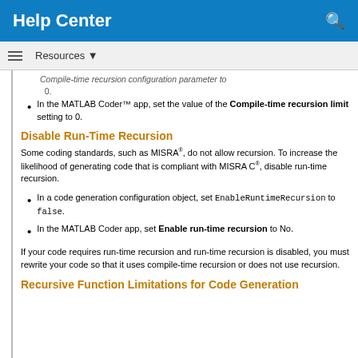Help Center
Resources ▼
Compile-time recursion configuration parameter to 0.
In the MATLAB Coder™ app, set the value of the Compile-time recursion limit setting to 0.
Disable Run-Time Recursion
Some coding standards, such as MISRA®, do not allow recursion. To increase the likelihood of generating code that is compliant with MISRA C®, disable run-time recursion.
In a code generation configuration object, set EnableRuntimeRecursion to false.
In the MATLAB Coder app, set Enable run-time recursion to No.
If your code requires run-time recursion and run-time recursion is disabled, you must rewrite your code so that it uses compile-time recursion or does not use recursion.
Recursive Function Limitations for Code Generation